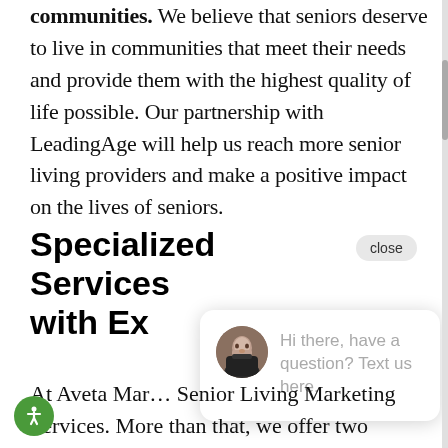communities. We believe that seniors deserve to live in communities that meet their needs and provide them with the highest quality of life possible. Our partnership with LeadingAge will help us reach more senior living providers and make a positive impact on the lives of seniors.
Specialized Services with Ex
[Figure (screenshot): Chat widget popup with avatar photo of a man in a suit and text reading: Hi there, have a question? Text us here. A close button appears top right of the section header.]
At Aveta Mar... Senior Living Marketing Services. More than that, we offer two unique advantages to other digital marketing agencies. Specialized